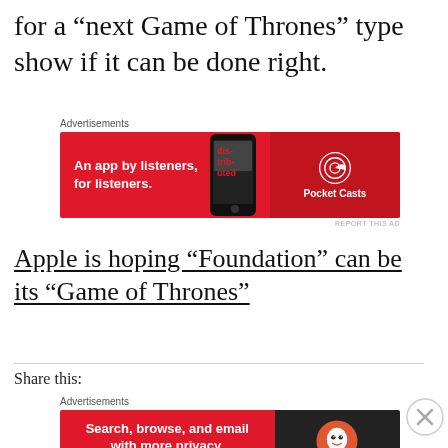for a “next Game of Thrones” type show if it can be done right.
[Figure (other): Pocket Casts advertisement banner: red background with phone image and text 'An app by listeners, for listeners.' and Pocket Casts logo]
Apple is hoping “Foundation” can be its “Game of Thrones”
Share this:
[Figure (other): DuckDuckGo advertisement banner: red left side with text 'Search, browse, and email with more privacy. All in One Free App' and dark right side with DuckDuckGo logo]